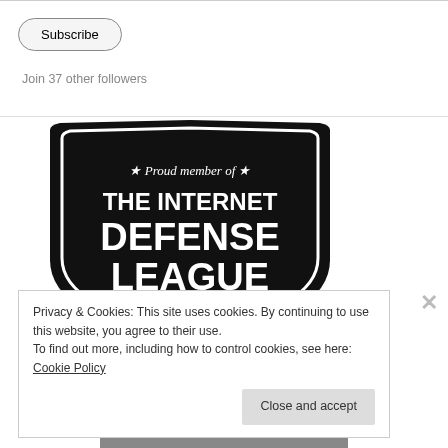Subscribe
Join 37 other followers
[Figure (logo): Black shield badge: 'Proud member of THE INTERNET DEFENSE LEAGUE' with stars]
Privacy & Cookies: This site uses cookies. By continuing to use this website, you agree to their use.
To find out more, including how to control cookies, see here: Cookie Policy
Close and accept